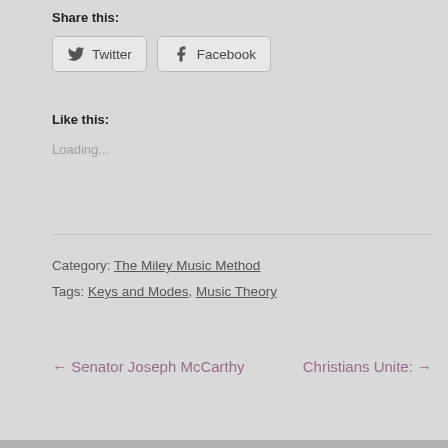Share this:
Twitter  Facebook
Like this:
Loading...
Category: The Miley Music Method
Tags: Keys and Modes, Music Theory
← Senator Joseph McCarthy
Christians Unite: →